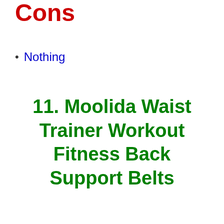Cons
Nothing
11. Moolida Waist Trainer Workout Fitness Back Support Belts